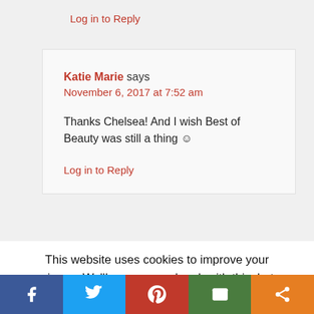Log in to Reply
Katie Marie says
November 6, 2017 at 7:52 am
Thanks Chelsea! And I wish Best of Beauty was still a thing ☺
Log in to Reply
This website uses cookies to improve your experience. We'll assume you're ok with this, but you can opt-out if you wish.